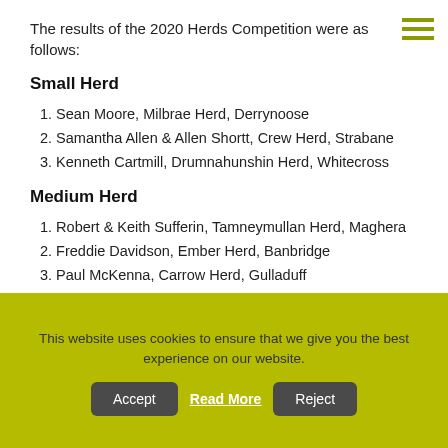The results of the 2020 Herds Competition were as follows:
Small Herd
1. Sean Moore, Milbrae Herd, Derrynoose
2. Samantha Allen & Allen Shortt, Crew Herd, Strabane
3. Kenneth Cartmill, Drumnahunshin Herd, Whitecross
Medium Herd
1. Robert & Keith Sufferin, Tamneymullan Herd, Maghera
2. Freddie Davidson, Ember Herd, Banbridge
3. Paul McKenna, Carrow Herd, Gulladuff
Large Herd
1. The Matchett Family, Birches Herd, Portadown
This website uses cookies to ensure that we give you the best experience on our website.